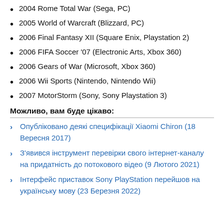2004 Rome Total War (Sega, PC)
2005 World of Warcraft (Blizzard, PC)
2006 Final Fantasy XII (Square Enix, Playstation 2)
2006 FIFA Soccer '07 (Electronic Arts, Xbox 360)
2006 Gears of War (Microsoft, Xbox 360)
2006 Wii Sports (Nintendo, Nintendo Wii)
2007 MotorStorm (Sony, Sony Playstation 3)
Можливо, вам буде цікаво:
Опубліковано деякі специфікації Xiaomi Chiron (18 Вересня 2017)
З'явився інструмент перевірки свого інтернет-каналу на придатність до потокового відео (9 Лютого 2021)
Інтерфейс приставок Sony PlayStation перейшов на українську мову (23 Березня 2022)